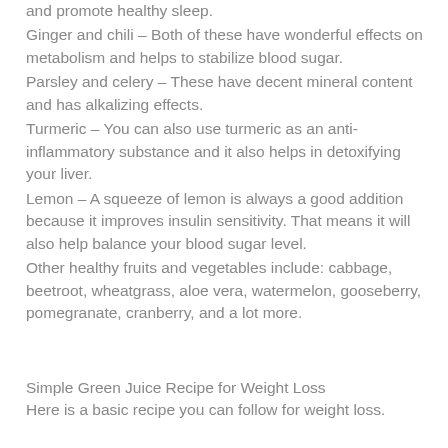and promote healthy sleep.
Ginger and chili – Both of these have wonderful effects on metabolism and helps to stabilize blood sugar.
Parsley and celery – These have decent mineral content and has alkalizing effects.
Turmeric – You can also use turmeric as an anti-inflammatory substance and it also helps in detoxifying your liver.
Lemon – A squeeze of lemon is always a good addition because it improves insulin sensitivity. That means it will also help balance your blood sugar level.
Other healthy fruits and vegetables include: cabbage, beetroot, wheatgrass, aloe vera, watermelon, gooseberry, pomegranate, cranberry, and a lot more.
Simple Green Juice Recipe for Weight Loss
Here is a basic recipe you can follow for weight loss.